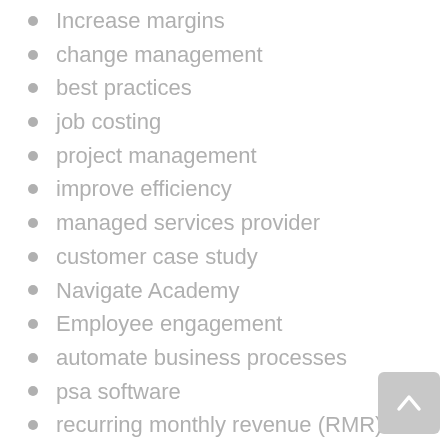Increase margins
change management
best practices
job costing
project management
improve efficiency
managed services provider
customer case study
Navigate Academy
Employee engagement
automate business processes
psa software
recurring monthly revenue (RMR)
KPIs
business process improvement